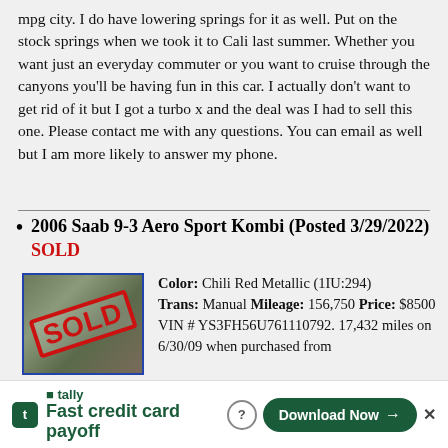mpg city. I do have lowering springs for it as well. Put on the stock springs when we took it to Cali last summer. Whether you want just an everyday commuter or you want to cruise through the canyons you'll be having fun in this car. I actually don't want to get rid of it but I got a turbo x and the deal was I had to sell this one. Please contact me with any questions. You can email as well but I am more likely to answer my phone.
2006 Saab 9-3 Aero Sport Kombi (Posted 3/29/2022) SOLD
[Figure (photo): Photo of a red 2006 Saab 9-3 Aero Sport Kombi with a red SOLD stamp overlay]
Color: Chili Red Metallic (1IU:294) Trans: Manual Mileage: 156,750 Price: $8500 VIN # YS3FH56U761110792. 17,432 miles on 6/30/09 when purchased from the original first owner. Located in Northeastern Pennsylvania Zip Code 18707 This 2006 Saab 9-3 Aero Sport Kombi has been owned for 13 years. This
[Figure (screenshot): Tally advertisement banner: Fast credit card payoff — Download Now button]